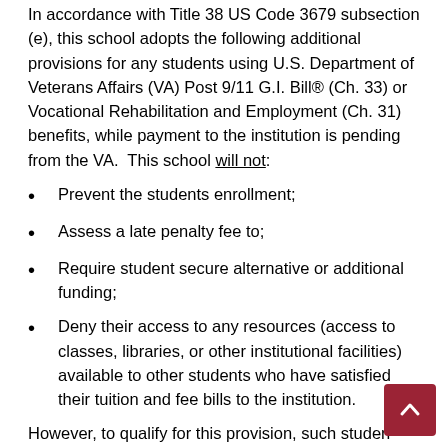In accordance with Title 38 US Code 3679 subsection (e), this school adopts the following additional provisions for any students using U.S. Department of Veterans Affairs (VA) Post 9/11 G.I. Bill® (Ch. 33) or Vocational Rehabilitation and Employment (Ch. 31) benefits, while payment to the institution is pending from the VA.  This school will not:
Prevent the students enrollment;
Assess a late penalty fee to;
Require student secure alternative or additional funding;
Deny their access to any resources (access to classes, libraries, or other institutional facilities) available to other students who have satisfied their tuition and fee bills to the institution.
However, to qualify for this provision, such students may be required to: